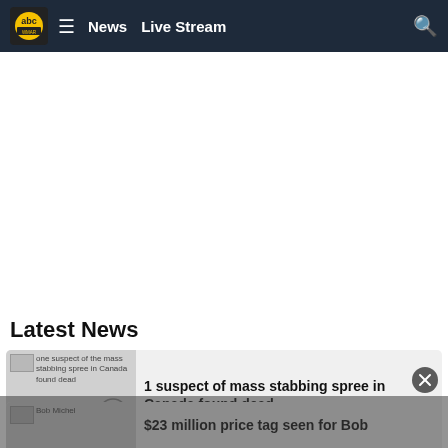abc News  Live Stream
[Figure (screenshot): White advertisement area]
Latest News
1 suspect of mass stabbing spree in Canada found dead
$23 million price tag seen for Bob